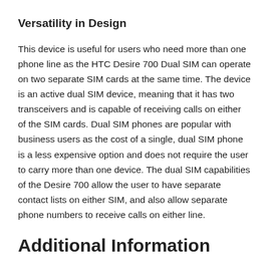Versatility in Design
This device is useful for users who need more than one phone line as the HTC Desire 700 Dual SIM can operate on two separate SIM cards at the same time. The device is an active dual SIM device, meaning that it has two transceivers and is capable of receiving calls on either of the SIM cards. Dual SIM phones are popular with business users as the cost of a single, dual SIM phone is a less expensive option and does not require the user to carry more than one device. The dual SIM capabilities of the Desire 700 allow the user to have separate contact lists on either SIM, and also allow separate phone numbers to receive calls on either line.
Additional Information